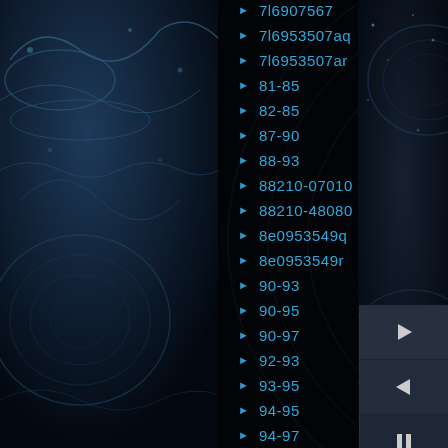[Figure (screenshot): Dark themed media player or file browser interface with decorative water splash and circular mechanical eye graphics on left and center panels. Dark blue/black color scheme with teal/blue text menu items.]
7l6907567
7l6953507aq
7l6953507ar
81-85
82-85
87-90
88-93
88210-07010
88210-48080
8e0953549q
8e0953549r
90-93
90-95
90-97
92-93
93-95
94-95
94-97
94-99
95-99
96-07